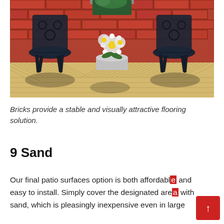[Figure (photo): Outdoor patio scene with two ornate black wrought-iron chairs, a potted plant with white daisies in a silver bucket between them, hanging flower basket above, all set against a red brick wall. The floor is made of light-colored wooden deck boards arranged in a herringbone/chevron pattern.]
Bricks provide a stable and visually attractive flooring solution.
9 Sand
Our final patio surfaces option is both affordable and easy to install. Simply cover the designated area with sand, which is pleasingly inexpensive even in large